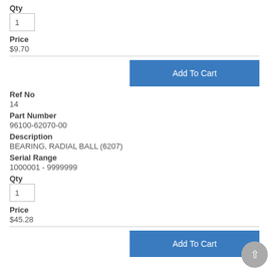Qty
1
Price
$9.70
Add To Cart
Ref No
14
Part Number
96100-62070-00
Description
BEARING, RADIAL BALL (6207)
Serial Range
1000001 - 9999999
Qty
1
Price
$45.28
Add To Cart